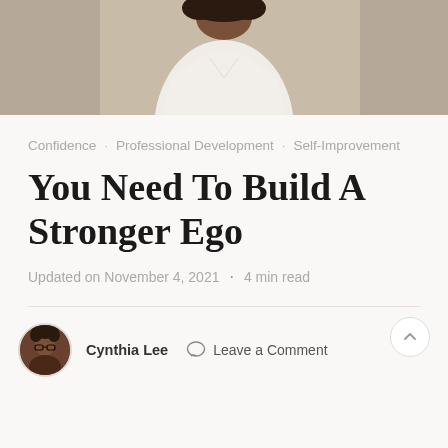[Figure (photo): Partial photo of a woman wearing a white dress, shown from approximately waist up, with curly hair, against a textured wall background. Only the lower portion of the photo is visible.]
Confidence · Professional Development · Self-Improvement
You Need To Build A Stronger Ego
Updated on November 4, 2021 · 4 min read
Cynthia Lee   Leave a Comment